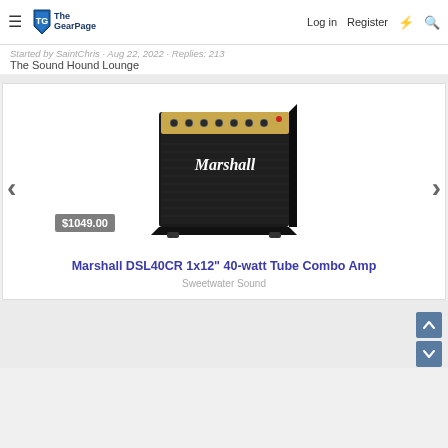The Gear Page — Log in | Register
Started by SaintChris · Aug 22, 2022 · Replies: 213
The Sound Hound Lounge
[Figure (photo): Marshall DSL40CR 1x12" 40-watt Tube Combo Amp guitar amplifier, black with gold control panel, product photo on white background. Price badge shows $1049.00. Navigation arrows on left and right sides of carousel.]
Marshall DSL40CR 1x12" 40-watt Tube Combo Amp
Sweetwater Sound